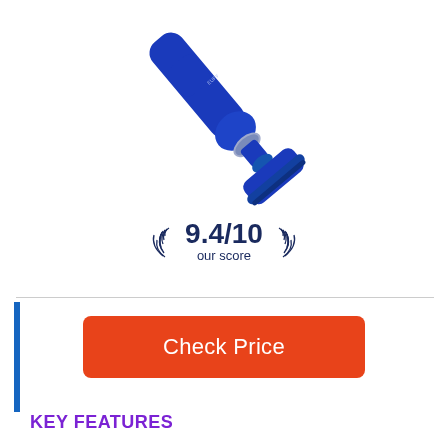[Figure (photo): Blue handheld/stick vacuum cleaner shown at an angle, with the nozzle head at the bottom pointing left, and the handle extending to the upper right. The vacuum is blue with silver/grey accents.]
9.4/10
our score
Check Price
KEY FEATURES